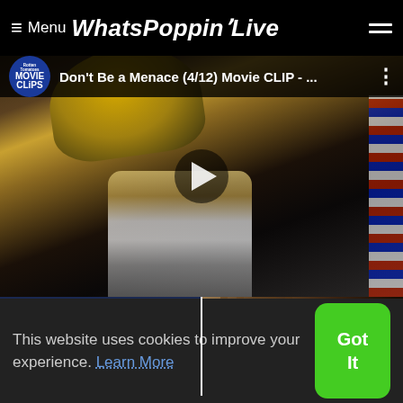≡ Menu WhatsPoppinLive
[Figure (screenshot): YouTube video thumbnail showing 'Don't Be a Menace (4/12) Movie CLIP - ...' from Rotten Tomatoes Movie Clips channel, with a play button overlay]
[Figure (screenshot): Thumbnail with dark blue background showing text: Eddie Griffin| I don't like sneaky white people!◆]
[Figure (screenshot): Thumbnail showing a silhouette of a person in a dimly lit scene]
This website uses cookies to improve your experience. Learn More
Got It